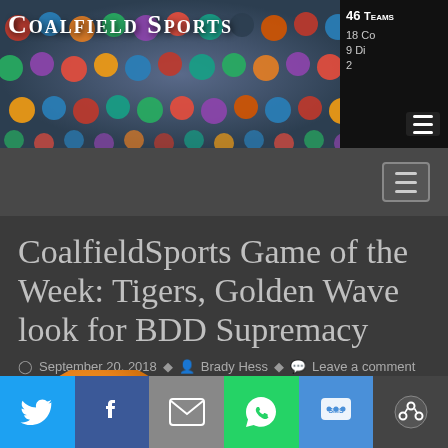Coalfield Sports — 46 Teams, 18 Conferences, 9 Districts, 2
[Figure (screenshot): Coalfield Sports website header with football helmet mosaic background, site title 'Coalfield Sports' in small-caps white font, and info box showing '46 Teams, 18 Co, 9 Di, 2' with hamburger menu icon on dark background]
[Figure (screenshot): Navigation bar with hamburger menu icon on gray background]
CoalfieldSports Game of the Week: Tigers, Golden Wave look for BDD Supremacy
September 20, 2018   Brady Hess   Leave a comment
[Figure (photo): Partial view of an orange football helmet with white paw print logo, cropped at bottom of visible area]
[Figure (infographic): Social sharing bar with Twitter (blue), Facebook (dark blue), Email (gray), WhatsApp (green), SMS (blue), and Share (dark) buttons with corresponding icons]